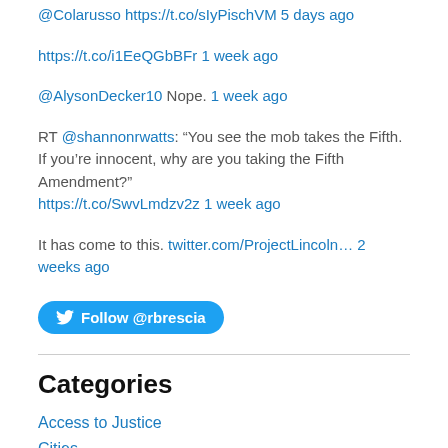@Colarusso https://t.co/sIyPischVM 5 days ago
https://t.co/i1EeQGbBFr 1 week ago
@AlysonDecker10 Nope. 1 week ago
RT @shannonrwatts: “You see the mob takes the Fifth. If you’re innocent, why are you taking the Fifth Amendment?” https://t.co/SwvLmdzv2z 1 week ago
It has come to this. twitter.com/ProjectLincoln… 2 weeks ago
[Figure (other): Follow @rbrescia button with Twitter bird icon]
Categories
Access to Justice
Cities
Civil Procedure
Empirical Research
Financial Reform